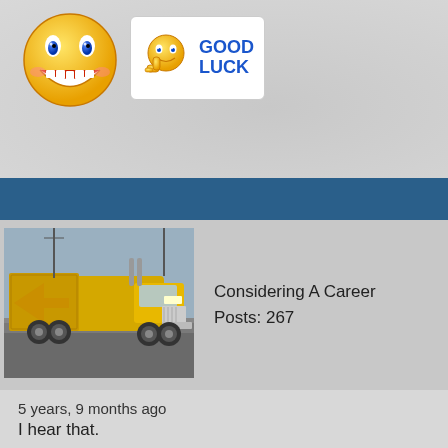[Figure (illustration): Large yellow smiley face emoji and a 'Good Luck' badge with a thumbs-up character]
[Figure (photo): Yellow semi-truck/big rig parked in a lot, user avatar/profile image]
Considering A Career
Posts: 267
5 years, 9 months ago
I hear that.